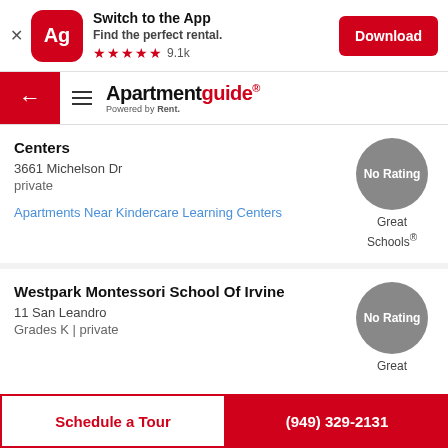[Figure (screenshot): App download banner with Apartmentguide Ag icon, 'Switch to the App', 'Find the perfect rental.', 5 red stars, 9.1k reviews, and a red Download button]
Apartmentguide® Powered by Rent.
Centers
3661 Michelson Dr
private
No Rating
Great Schools®
Apartments Near Kindercare Learning Centers
Westpark Montessori School Of Irvine
11 San Leandro
Grades K | private
No Rating
Great
Schedule a Tour
(949) 329-2131